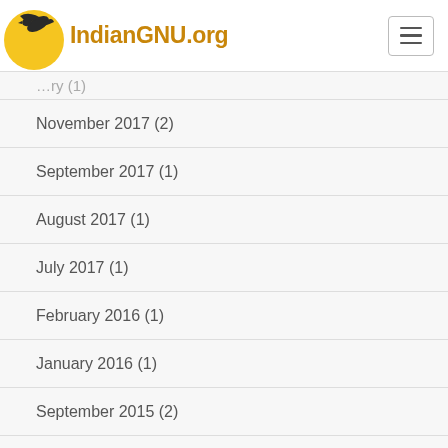IndianGNU.org
November 2017 (2)
September 2017 (1)
August 2017 (1)
July 2017 (1)
February 2016 (1)
January 2016 (1)
September 2015 (2)
August 2015 (1)
July 2015 (1)